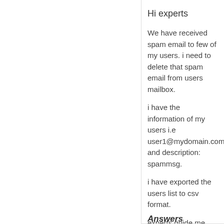Hi experts
We have received spam email to few of my users. i need to delete that spam email from users mailbox.
i have the information of my users i.e user1@mydomain.com and description: spammsg.
i have exported the users list to csv format.
experts guide me with powershell command to delete the msg.
Wednesday, April 11, 2018 7:29 AM
Answers